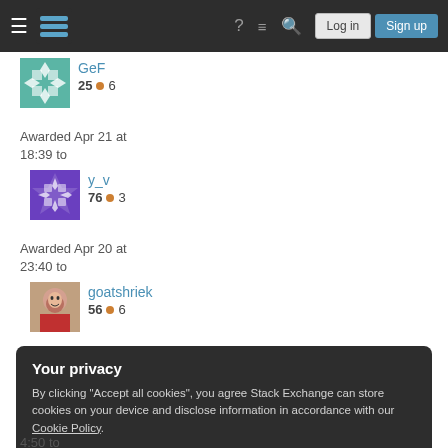Stack Exchange navigation bar with Log in and Sign up buttons
[Figure (screenshot): GeF user avatar - teal geometric pattern]
GeF
25 • 6
Awarded Apr 21 at 18:39 to
[Figure (screenshot): y_v user avatar - purple geometric pattern]
y_v
76 • 3
Awarded Apr 20 at 23:40 to
[Figure (photo): goatshriek user avatar - photo of person]
goatshriek
56 • 6
Your privacy
By clicking "Accept all cookies", you agree Stack Exchange can store cookies on your device and disclose information in accordance with our Cookie Policy.
Accept all cookies
Customize settings
4:50 to